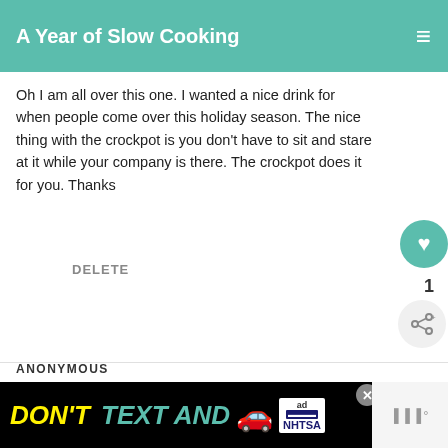A Year of Slow Cooking
Oh I am all over this one. I wanted a nice drink for when people come over this holiday season. The nice thing with the crockpot is you don't have to sit and stare at it while your company is there. The crockpot does it for you. Thanks
DELETE
1
ANONYMOUS
12/02/2008
This was delicious! Even my 2 yea... asking for "mo"! (the non-coffee kind!) Thanks for the recipe! This will be used again in our
WHAT'S NEXT → CrockPot Bacon and...
[Figure (infographic): Advertisement banner: DON'T TEXT AND (car emoji) with ad badge and NHTSA logo, with close button]